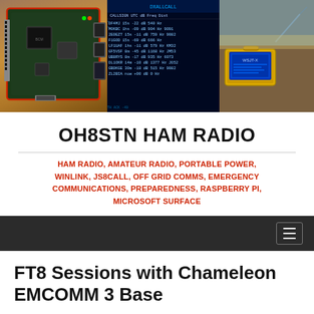[Figure (photo): Header banner with three images: left shows a red Raspberry Pi/Arduino board, center shows a dark amateur radio logging/data screen with call signs and signal data, right shows a ruggedized yellow case with a laptop/tablet displaying a blue screen outdoors.]
OH8STN HAM RADIO
HAM RADIO, AMATEUR RADIO, PORTABLE POWER, WINLINK, JS8CALL, OFF GRID COMMS, EMERGENCY COMMUNICATIONS, PREPAREDNESS, RASPBERRY PI, MICROSOFT SURFACE
Navigation bar with hamburger menu icon
FT8 Sessions with Chameleon EMCOMM 3 Base
May 2, 2018   Julian OH8STN